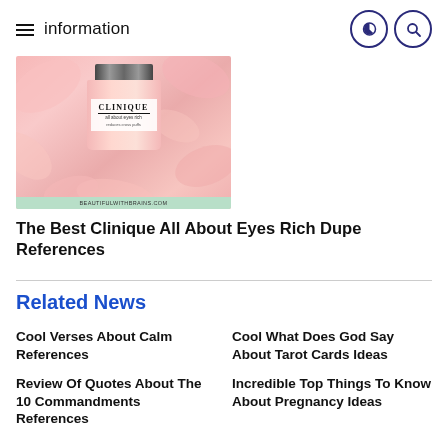information
[Figure (photo): Clinique All About Eyes Rich cream jar product photo on pink floral background with BEAUTIFULWITHBRAINS.COM watermark]
The Best Clinique All About Eyes Rich Dupe References
Related News
Cool Verses About Calm References
Cool What Does God Say About Tarot Cards Ideas
Review Of Quotes About The 10 Commandments References
Incredible Top Things To Know About Pregnancy Ideas